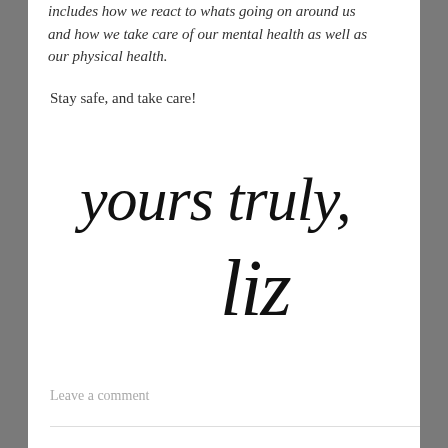includes how we react to whats going on around us and how we take care of our mental health as well as our physical health.
Stay safe, and take care!
[Figure (illustration): Handwritten cursive signature reading 'yours truly, liz' in large black script on white background]
Leave a comment